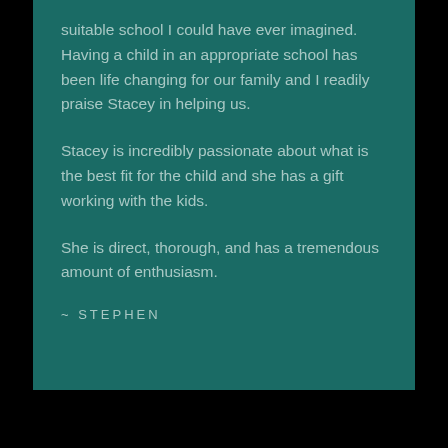suitable school I could have ever imagined. Having a child in an appropriate school has been life changing for our family and I readily praise Stacey in helping us.
Stacey is incredibly passionate about what is the best fit for the child and she has a gift working with the kids.
She is direct, thorough, and has a tremendous amount of enthusiasm.
~ STEPHEN